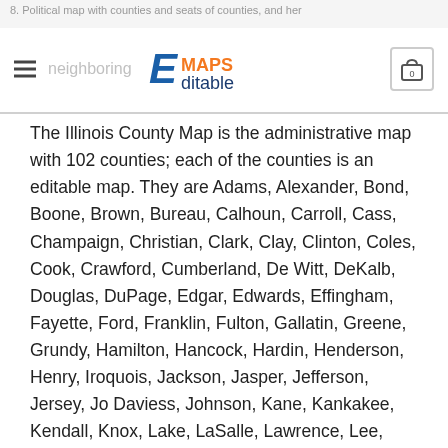8. Political map with counties and seats of counties, and neighboring
The Illinois County Map is the administrative map with 102 counties; each of the counties is an editable map. They are Adams, Alexander, Bond, Boone, Brown, Bureau, Calhoun, Carroll, Cass, Champaign, Christian, Clark, Clay, Clinton, Coles, Cook, Crawford, Cumberland, De Witt, DeKalb, Douglas, DuPage, Edgar, Edwards, Effingham, Fayette, Ford, Franklin, Fulton, Gallatin, Greene, Grundy, Hamilton, Hancock, Hardin, Henderson, Henry, Iroquois, Jackson, Jasper, Jefferson, Jersey, Jo Daviess, Johnson, Kane, Kankakee, Kendall, Knox, Lake, LaSalle, Lawrence, Lee, Livingston, Logan, Macon, Macoupin, Madison, Marion, Marshall, Mason, Massac, McDonough, McHenry, McLean, Menard, Mercer, Monroe, Montgomery, Morgan, Moultrie, Ogle, Peoria, Perry, Piatt, Pike, Pope, Pulaski, Putnam, Randolph, Richland, Rock Island, Saline, Sangamon, Schuyler,